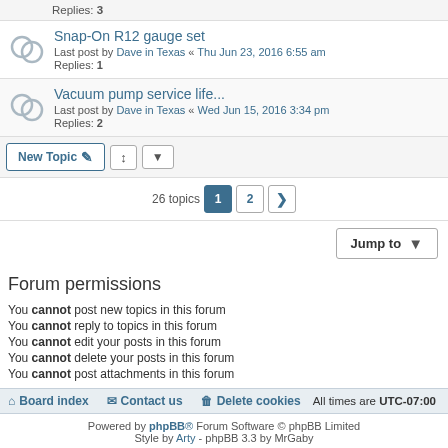Replies: 3
Snap-On R12 gauge set
Last post by Dave in Texas « Thu Jun 23, 2016 6:55 am
Replies: 1
Vacuum pump service life...
Last post by Dave in Texas « Wed Jun 15, 2016 3:34 pm
Replies: 2
New Topic | sort | dropdown
26 topics  1  2  >
Jump to
Forum permissions
You cannot post new topics in this forum
You cannot reply to topics in this forum
You cannot edit your posts in this forum
You cannot delete your posts in this forum
You cannot post attachments in this forum
Board index  Contact us  Delete cookies  All times are UTC-07:00
Powered by phpBB® Forum Software © phpBB Limited
Style by Arty - phpBB 3.3 by MrGaby